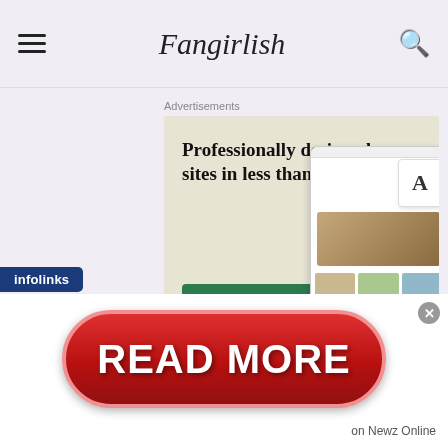Fangirlish
Advertisements
[Figure (screenshot): WordPress advertisement: 'Professionally designed sites in less than a week' with Explore options button and WordPress logo, showing website design mockup on right side]
infolinks
[Figure (screenshot): Red READ MORE button advertisement with 'on Newz Online' text and close button]